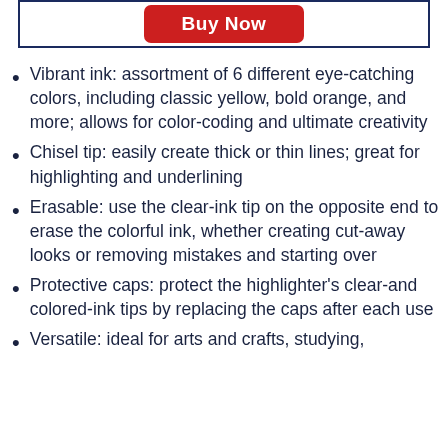[Figure (other): Buy Now button inside a dark navy border box]
Vibrant ink: assortment of 6 different eye-catching colors, including classic yellow, bold orange, and more; allows for color-coding and ultimate creativity
Chisel tip: easily create thick or thin lines; great for highlighting and underlining
Erasable: use the clear-ink tip on the opposite end to erase the colorful ink, whether creating cut-away looks or removing mistakes and starting over
Protective caps: protect the highlighter's clear-and colored-ink tips by replacing the caps after each use
Versatile: ideal for arts and crafts, studying,